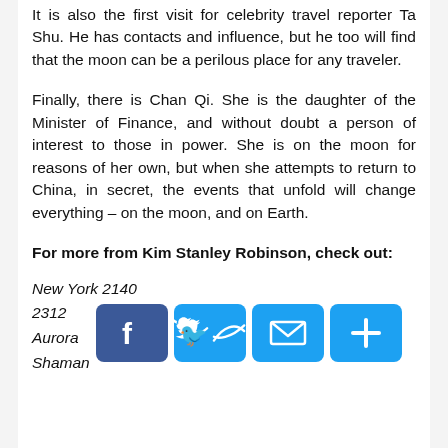It is also the first visit for celebrity travel reporter Ta Shu. He has contacts and influence, but he too will find that the moon can be a perilous place for any traveler.
Finally, there is Chan Qi. She is the daughter of the Minister of Finance, and without doubt a person of interest to those in power. She is on the moon for reasons of her own, but when she attempts to return to China, in secret, the events that unfold will change everything – on the moon, and on Earth.
For more from Kim Stanley Robinson, check out:
New York 2140
2312
Aurora
Shaman
[Figure (infographic): Four social sharing buttons: Facebook (f), Twitter (bird icon shown as f-style), Mail (envelope), and Plus/Share (+), all in blue rounded rectangles]